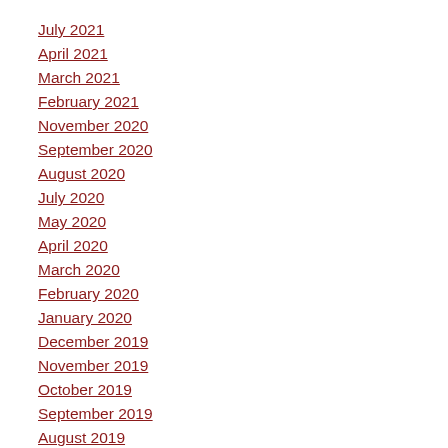July 2021
April 2021
March 2021
February 2021
November 2020
September 2020
August 2020
July 2020
May 2020
April 2020
March 2020
February 2020
January 2020
December 2019
November 2019
October 2019
September 2019
August 2019
July 2019